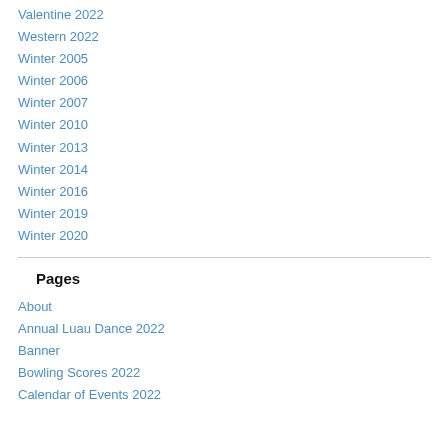Valentine 2022
Western 2022
Winter 2005
Winter 2006
Winter 2007
Winter 2010
Winter 2013
Winter 2014
Winter 2016
Winter 2019
Winter 2020
Pages
About
Annual Luau Dance 2022
Banner
Bowling Scores 2022
Calendar of Events 2022